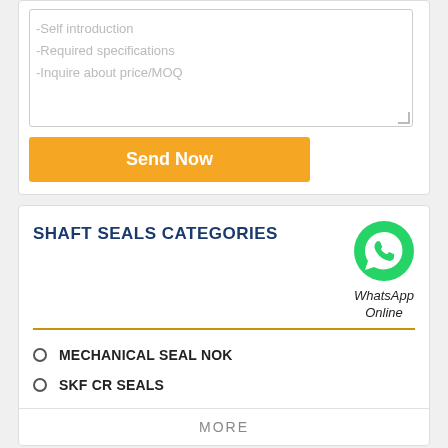-Self introduction
-Required specifications
-Inquire about price/MOQ
Send Now
SHAFT SEALS CATEGORIES
[Figure (illustration): Green WhatsApp logo icon with phone handset]
WhatsApp Online
MECHANICAL SEAL NOK
SKF CR SEALS
MORE
Chat now
1551-024.310
SEALS ALSO